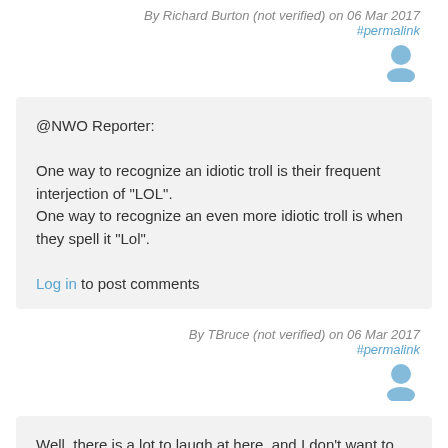By Richard Burton (not verified) on 06 Mar 2017
#permalink
[Figure (illustration): User avatar icon (blue silhouette)]
@NWO Reporter:

One way to recognize an idiotic troll is their frequent interjection of "LOL".
One way to recognize an even more idiotic troll is when they spell it "Lol".
Log in to post comments
By TBruce (not verified) on 06 Mar 2017
#permalink
[Figure (illustration): User avatar icon (blue silhouette)]
Well, there is a lot to laugh at here, and I don't want to overuse the laugh emoticon. I'll try to